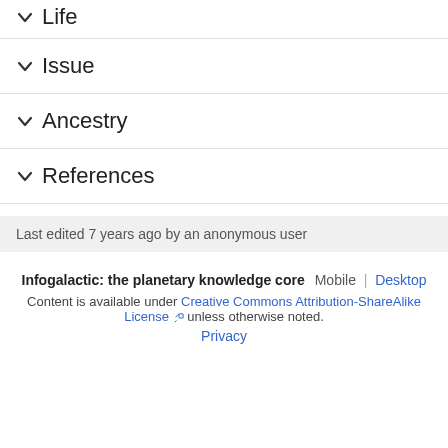Life
Issue
Ancestry
References
Last edited 7 years ago by an anonymous user
Infogalactic: the planetary knowledge core   Mobile  |  Desktop
Content is available under Creative Commons Attribution-ShareAlike License unless otherwise noted.
Privacy